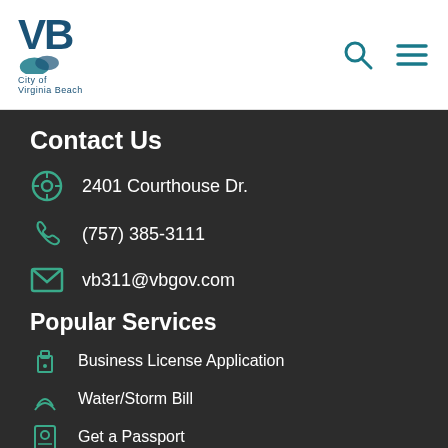[Figure (logo): Virginia Beach city logo with VB monogram and wave graphic]
Contact Us
2401 Courthouse Dr.
(757) 385-3111
vb311@vbgov.com
Popular Services
Business License Application
Water/Storm Bill
Get a Passport
Public Utilities Online Services
Library Catalog
Follow Us